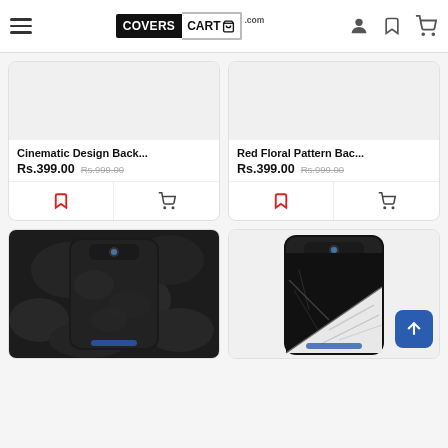CoversCart.com
[Figure (screenshot): Product card: Cinematic Design Back case, price Rs.399.00 (was Rs.999.00), with bookmark and cart icons]
[Figure (screenshot): Product card: Red Floral Pattern Back case, price Rs.399.00 (was Rs.999.00), with bookmark and cart icons]
[Figure (photo): Phone case with dark camouflage pattern on black Samsung phone]
[Figure (photo): Phone case with black and white marble pattern on black Samsung phone]